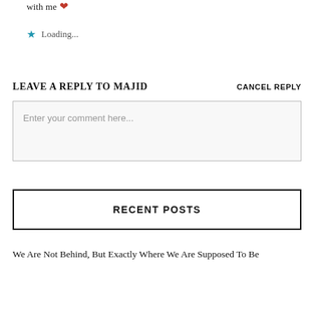with me ❤
★ Loading...
LEAVE A REPLY TO MAJID
CANCEL REPLY
Enter your comment here...
RECENT POSTS
We Are Not Behind, But Exactly Where We Are Supposed To Be